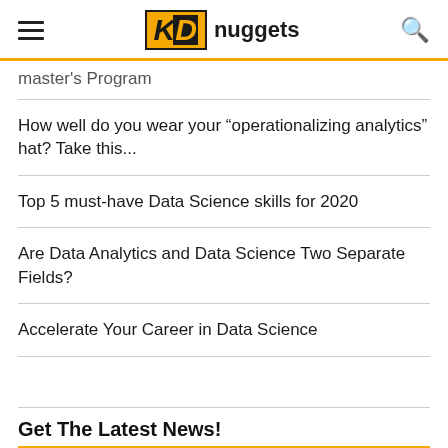KD nuggets
master's Program
How well do you wear your “operationalizing analytics” hat? Take this...
Top 5 must-have Data Science skills for 2020
Are Data Analytics and Data Science Two Separate Fields?
Accelerate Your Career in Data Science
Get The Latest News!